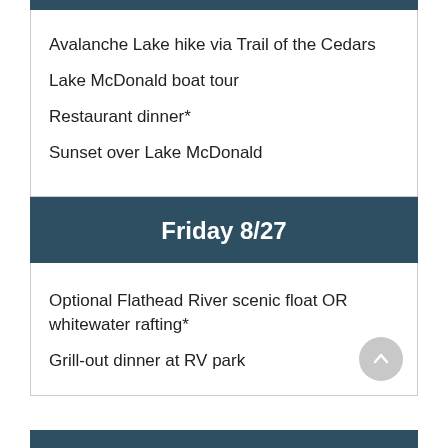Avalanche Lake hike via Trail of the Cedars
Lake McDonald boat tour
Restaurant dinner*
Sunset over Lake McDonald
Friday 8/27
Optional Flathead River scenic float OR whitewater rafting*
Grill-out dinner at RV park